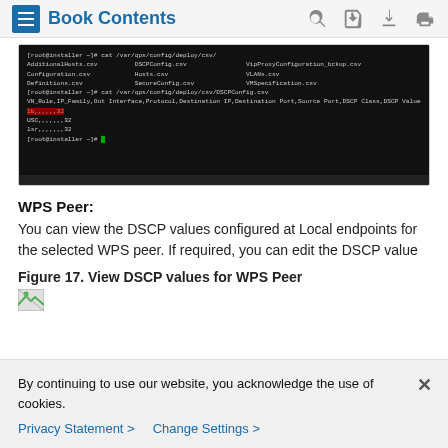Book Contents
[Figure (screenshot): Terminal/command-line screenshot showing directory listing of /var/qps/config/deploy/csv/ including files like AdditionalHosts.csv, DSCPConfig.csv, VipProxyConfiguration_bckup.csv, Configuration.csv, Hosts.csv, VLANs.csv, Definitions.csv, SecureConfig.csv, VMSpecification.csv. Then cat command on DSCPConfig.csv showing header row: VN_Role,IP_Family,Out Interface,Protocol,Destination IP,Destination Port,Source Port,DSCP Class,DSCP Value. With red-highlighted rows and data rows ending in ,32]
WPS Peer:
You can view the DSCP values configured at Local endpoints for the selected WPS peer. If required, you can edit the DSCP value
Figure 17. View DSCP values for WPS Peer
[Figure (photo): Broken/loading image placeholder (small icon)]
By continuing to use our website, you acknowledge the use of cookies.
Privacy Statement >   Change Settings >